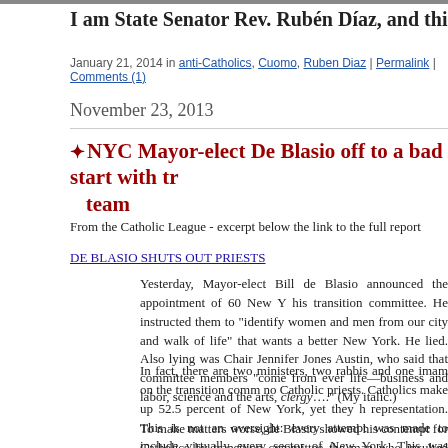I am State Senator Rev. Rubén Díaz, and this is what you sho
January 21, 2014 in anti-Catholics, Cuomo, Ruben Diaz | Permalink | Comments (1)
November 23, 2013
NYC Mayor-elect De Blasio off to a bad start with tr team
From the Catholic League - excerpt below the link to the full report
DE BLASIO SHUTS OUT PRIESTS
Yesterday, Mayor-elect Bill de Blasio announced the appointment of 60 New Y his transition committee. He instructed them to “identify women and men from our city and walk of life” that wants a better New York. He lied. Also lying was Chair Jennifer Jones Austin, who said that committee members “come from ever life—business and labor, science and the arts, clergy….” (My italic.)
In fact, there are two ministers, two rabbis and one imam on the transition comm no Catholic priests. Catholics make up 52.5 percent of New York, yet they h representation. This is not an oversight: every attempt was made to include virtually every sector of New York. This was clearly done by design. Looks l politics of inclusion has its limits.
To make matters worse, de Blasio showed his contempt for Catholics by transition committee the man who insulted them in 1999 with the “Sensation” e L. Lehman, director of the Brooklyn Museum of Art. That exhibit featured a